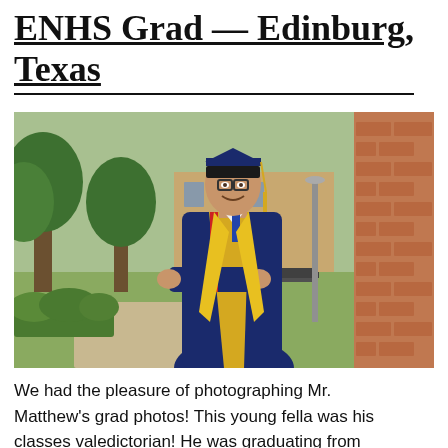ENHS Grad — Edinburg, Texas
[Figure (photo): A young male high school graduate wearing a blue graduation gown and cap with gold sash and honors stoles, leaning against a brick wall outdoors on a sunny day with trees and a building in background]
We had the pleasure of photographing Mr. Matthew's grad photos! This young fella was his classes valedictorian! He was graduating from